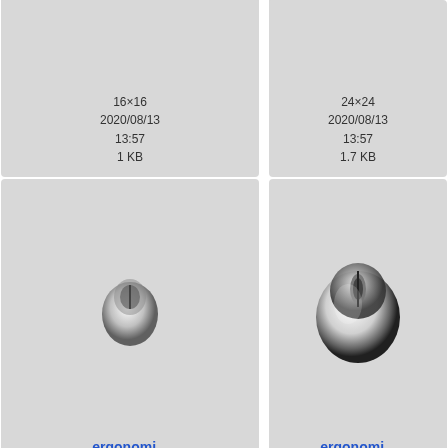[Figure (screenshot): File browser/icon viewer showing image files with thumbnails, names, dimensions, dates, and file sizes. Partial top row shows two cells with dates 2020/08/13 13:57 and sizes 1 KB and 1.7 KB for 16x16 and 24x24 images. Middle row shows ergonomi... icons at 48x48 (4.3 KB) and 128x128 (17.1 KB). Bottom row shows external_... icons at 16x16 and 24x24.]